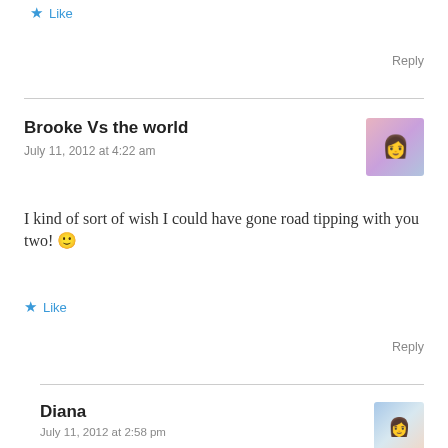Like
Reply
Brooke Vs the world
July 11, 2012 at 4:22 am
I kind of sort of wish I could have gone road tipping with you two! 🙂
Like
Reply
Diana
July 11, 2012 at 2:58 pm
Well, next time when we are all on the same continent, we should